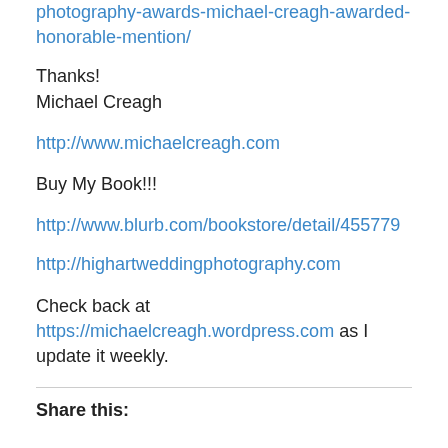photography-awards-michael-creagh-awarded-honorable-mention/
Thanks!
Michael Creagh
http://www.michaelcreagh.com
Buy My Book!!!
http://www.blurb.com/bookstore/detail/455779
http://highartweddingphotography.com
Check back at https://michaelcreagh.wordpress.com as I update it weekly.
Share this: